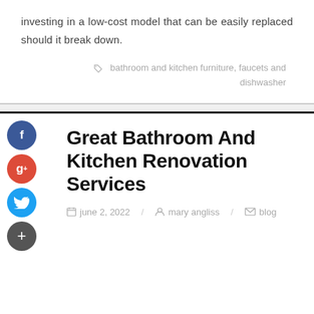investing in a low-cost model that can be easily replaced should it break down.
bathroom and kitchen furniture, faucets and dishwasher
Great Bathroom And Kitchen Renovation Services
june 2, 2022 / mary angliss / blog